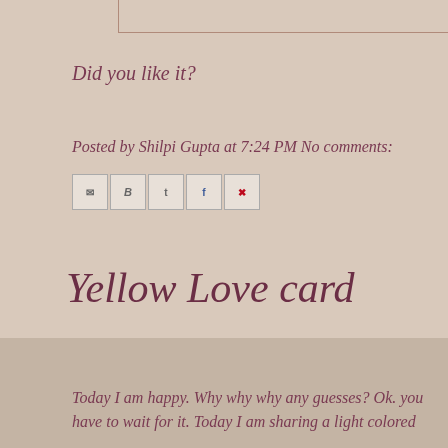[Figure (other): Top border box element — partial border lines at top of page]
Did you like it?
Posted by Shilpi Gupta at 7:24 PM  No comments:
[Figure (other): Social sharing icon buttons: Email, Bloglovin, Twitter, Facebook, Pinterest]
Yellow Love card
Hello Friends
Today I am happy. Why why why any guesses? Ok. you have to wait for it. Today I am sharing a light colored